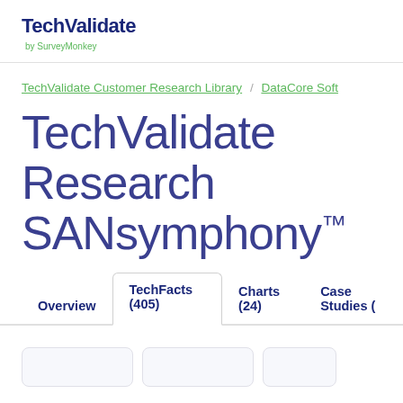TechValidate by SurveyMonkey
TechValidate Customer Research Library / DataCore Soft
TechValidate Research SANsymphony™
Overview | TechFacts (405) | Charts (24) | Case Studies (
[Figure (other): Bottom card row partially visible]